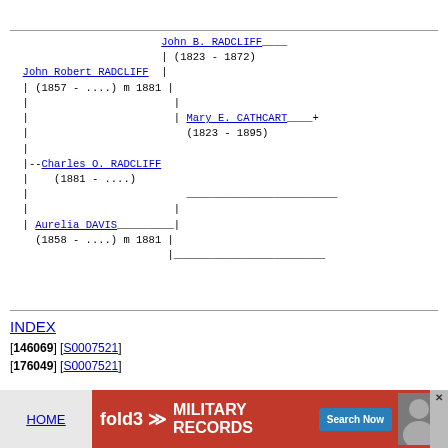[Figure (other): Genealogy family tree diagram showing John Robert RADCLIFF (1857 - ....) m 1881 connected to parents John B. RADCLIFF (1823 - 1872) and Mary E. CATHCART (1823 - 1895), with child Charles O. RADCLIFF (1881 - ....) and spouse Aurelia DAVIS (1858 - ....) m 1881]
INDEX
[146069] [S0007521]
[176049] [S0007521]
[Figure (other): fold3 MILITARY RECORDS advertisement banner with HOME link and Search Now button]